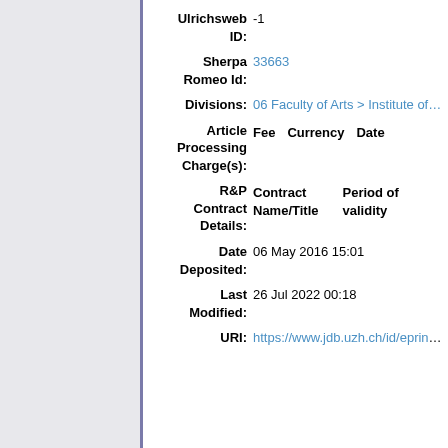| Ulrichsweb ID: | -1 |
| Sherpa Romeo Id: | 33663 |
| Divisions: | 06 Faculty of Arts > Institute of Art |
| Article Processing Charge(s): | Fee  Currency  Date |
| R&P Contract Details: | Contract Name/Title  |  Period of validity |
| Date Deposited: | 06 May 2016 15:01 |
| Last Modified: | 26 Jul 2022 00:18 |
| URI: | https://www.jdb.uzh.ch/id/eprint/355 |